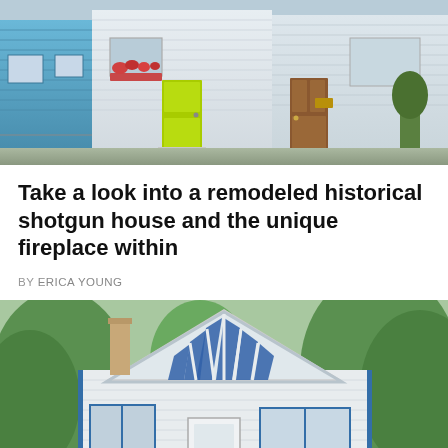[Figure (photo): Row of three adjacent shotgun houses viewed from the street. Left house has blue siding, middle house is white with a bright lime-green front door and flower box windows, right house has white siding and a wooden brown door.]
Take a look into a remodeled historical shotgun house and the unique fireplace within
BY ERICA YOUNG
[Figure (photo): Exterior of a small white shotgun house with blue accent trim and large blue glass panels on the gabled front facade, surrounded by green trees.]
© Tiny Home Tour   About Ads   Terms   Privacy   Do Not Sell My Info